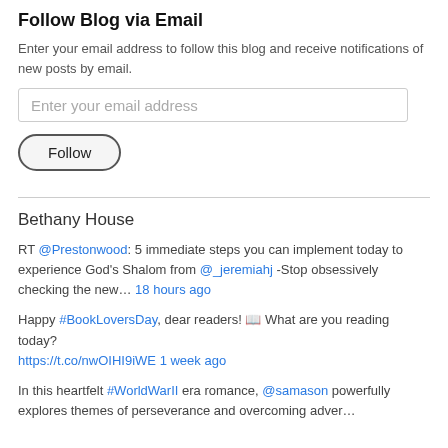Follow Blog via Email
Enter your email address to follow this blog and receive notifications of new posts by email.
Enter your email address
Follow
Bethany House
RT @Prestonwood: 5 immediate steps you can implement today to experience God’s Shalom from @_jeremiahj -Stop obsessively checking the new… 18 hours ago
Happy #BookLoversDay, dear readers! 📖 What are you reading today? https://t.co/nwOIHI9iWE 1 week ago
In this heartfelt #WorldWarII era romance, @samason powerfully explores themes of perseverance and overcoming adver...